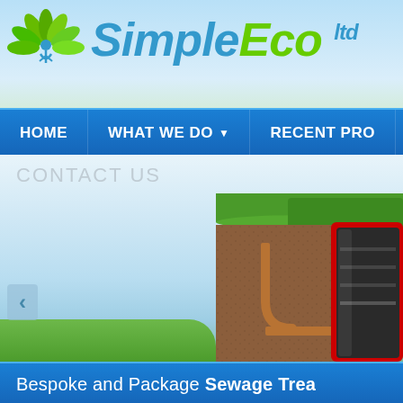[Figure (logo): SimpleEco Ltd logo with green leaf/plant icon and blue-green branded text]
HOME | WHAT WE DO | RECENT PRO
CONTACT US
[Figure (illustration): Cross-section illustration of a bespoke sewage treatment/septic tank system underground, showing green grass on top, brown soil layers, copper pipes, and internal tank structure]
Bespoke and Package Sewage Trea